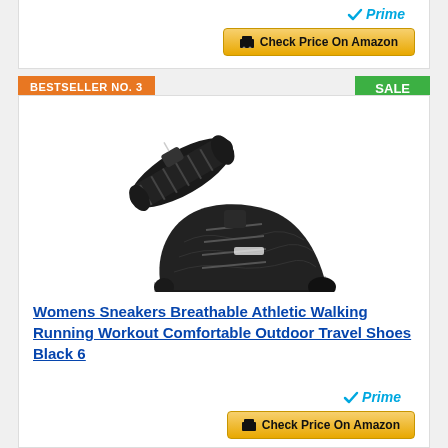[Figure (other): Amazon Prime logo with checkmark]
[Figure (other): Check Price On Amazon button (gold/yellow)]
BESTSELLER NO. 3
SALE
[Figure (photo): Black womens sneakers product photo showing two shoes, one upside down showing sole and one right-side up]
Womens Sneakers Breathable Athletic Walking Running Workout Comfortable Outdoor Travel Shoes Black 6
[Figure (other): Amazon Prime logo with checkmark]
[Figure (other): Check Price On Amazon button (gold/yellow)]